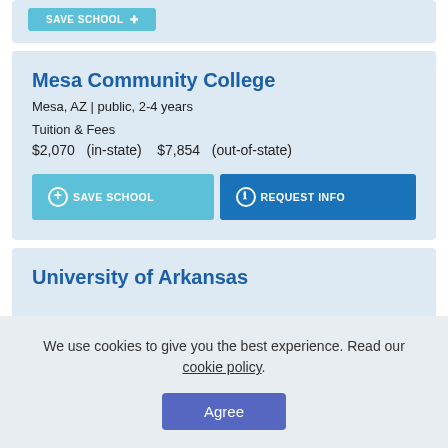SAVE SCHOOL +
Mesa Community College
Mesa, AZ | public, 2-4 years
Tuition & Fees
$2,070   (in-state)    $7,854   (out-of-state)
SAVE SCHOOL +
REQUEST INFO
University of Arkansas
We use cookies to give you the best experience. Read our cookie policy.
Agree